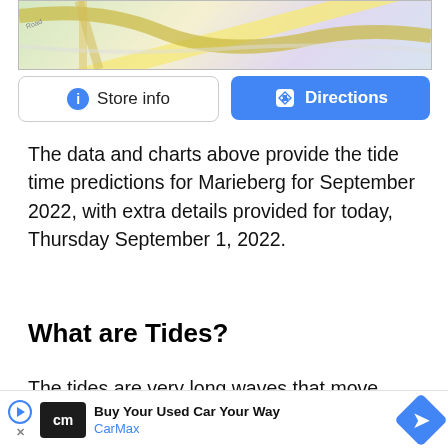[Figure (screenshot): Partial map view showing streets and colored road overlays]
[Figure (screenshot): Two buttons: 'Store info' (white with info icon) and 'Directions' (blue with direction icon)]
The data and charts above provide the tide time predictions for Marieberg for September 2022, with extra details provided for today, Thursday September 1, 2022.
What are Tides?
The tides are very long waves that move across our oceans, and they are caused by the gravit[ational pull of the moon and su]n, [but to a lesser] [extent].
[Figure (screenshot): Advertisement banner: CarMax 'Buy Your Used Car Your Way' with blue direction arrow icon and close button]